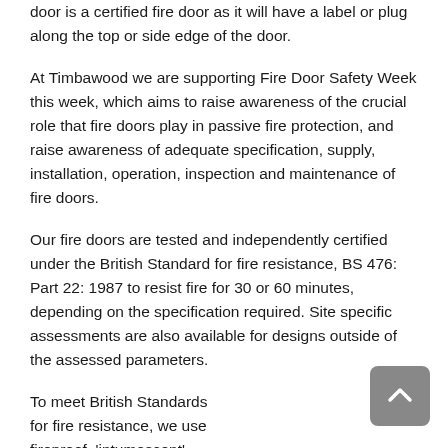door is a certified fire door as it will have a label or plug along the top or side edge of the door.
At Timbawood we are supporting Fire Door Safety Week this week, which aims to raise awareness of the crucial role that fire doors play in passive fire protection, and raise awareness of adequate specification, supply, installation, operation, inspection and maintenance of fire doors.
Our fire doors are tested and independently certified under the British Standard for fire resistance, BS 476: Part 22: 1987 to resist fire for 30 or 60 minutes, depending on the specification required. Site specific assessments are also available for designs outside of the assessed parameters.
To meet British Standards for fire resistance, we use fireproof, 'intumescent' boards and seals within the